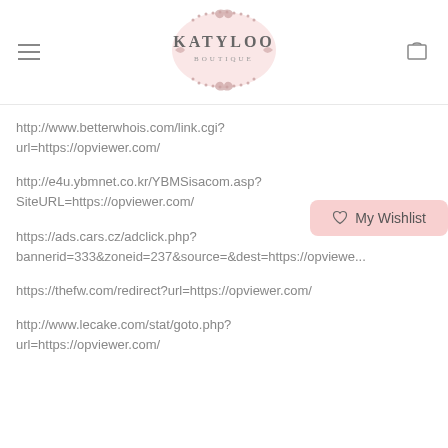KATYLOO BOUTIQUE
http://www.betterwhois.com/link.cgi?url=https://opviewer.com/
http://e4u.ybmnet.co.kr/YBMSisacom.asp?SiteURL=https://opviewer.com/
https://ads.cars.cz/adclick.php?bannerid=333&zoneid=237&source=&dest=https://opviewer.com/
https://thefw.com/redirect?url=https://opviewer.com/
http://www.lecake.com/stat/goto.php?url=https://opviewer.com/